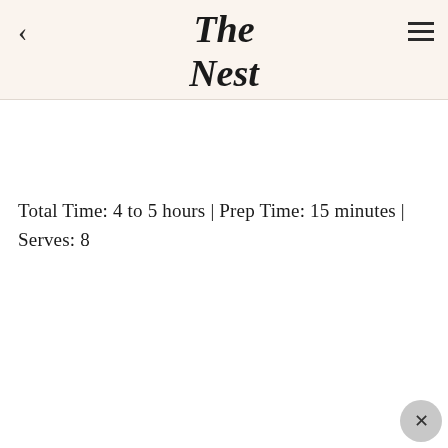The Nest
Total Time: 4 to 5 hours | Prep Time: 15 minutes | Serves: 8